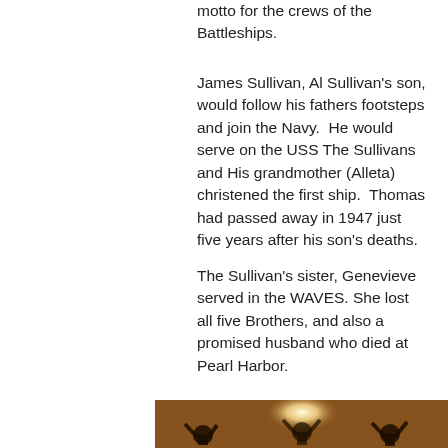motto for the crews of the Battleships.
James Sullivan, Al Sullivan's son, would follow his fathers footsteps and join the Navy.  He would serve on the USS The Sullivans and His grandmother (Alleta) christened the first ship.  Thomas had passed away in 1947 just five years after his son's deaths.
The Sullivan's sister, Genevieve served in the WAVES. She lost all five Brothers, and also a promised husband who died at Pearl Harbor.
[Figure (photo): Black and white photo showing several men in navy/military uniforms with their arms raised, with a bright light source in the background.]